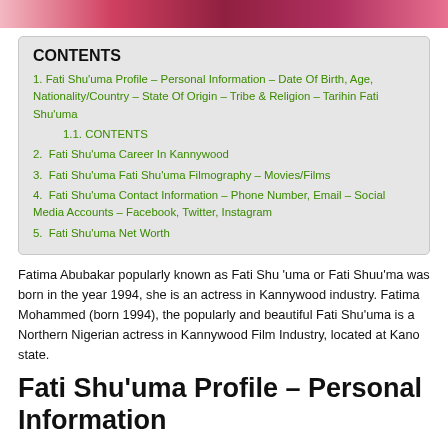[Figure (photo): Partial photo strip at top of page showing a woman in colorful clothing/accessories]
CONTENTS
1. Fati Shu'uma Profile – Personal Information – Date Of Birth, Age, Nationality/Country – State Of Origin – Tribe & Religion – Tarihin Fati Shu'uma
1.1. CONTENTS
2.  Fati Shu'uma Career In Kannywood
3.  Fati Shu'uma Fati Shu'uma Filmography – Movies/Films
4.  Fati Shu'uma Contact Information – Phone Number, Email – Social Media Accounts – Facebook, Twitter, Instagram
5.  Fati Shu'uma Net Worth
Fatima Abubakar popularly known as Fati Shu 'uma or Fati Shuu'ma was born in the year 1994, she is an actress in Kannywood industry. Fatima Mohammed (born 1994), the popularly and beautiful Fati Shu'uma is a Northern Nigerian actress in Kannywood Film Industry, located at Kano state.
Fati Shu'uma Profile – Personal Information